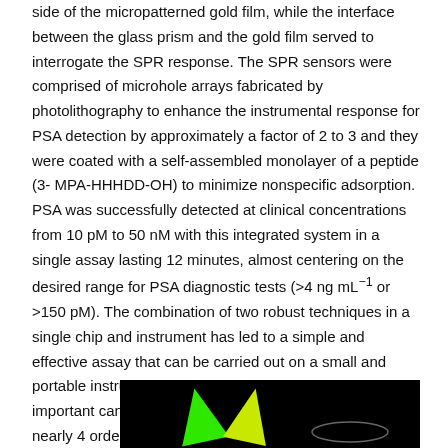side of the micropatterned gold film, while the interface between the glass prism and the gold film served to interrogate the SPR response. The SPR sensors were comprised of microhole arrays fabricated by photolithography to enhance the instrumental response for PSA detection by approximately a factor of 2 to 3 and they were coated with a self-assembled monolayer of a peptide (3-MPA-HHHDD-OH) to minimize nonspecific adsorption. PSA was successfully detected at clinical concentrations from 10 pM to 50 nM with this integrated system in a single assay lasting 12 minutes, almost centering on the desired range for PSA diagnostic tests (>4 ng mL⁻¹ or >150 pM). The combination of two robust techniques in a single chip and instrument has led to a simple and effective assay that can be carried out on a small and portable instrument providing rapid biodetection of an important cancer biomarker with a dynamic range of nearly 4 orders of magnitude in the clinical range.
[Figure (photo): Black background image showing green and yellow triangular/wedge shapes on the left and a faint elliptical shape on the right, appearing to be a microscopy or optical image.]